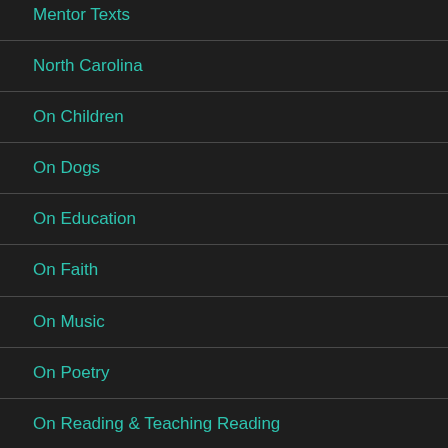Mentor Texts
North Carolina
On Children
On Dogs
On Education
On Faith
On Music
On Poetry
On Reading & Teaching Reading